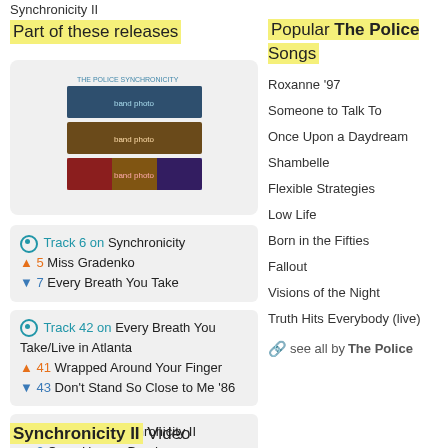Synchronicity II
Part of these releases
[Figure (photo): Album cover art for The Police - Synchronicity, showing multiple band photos stacked]
Track 6 on Synchronicity, up 5 Miss Gradenko, down 7 Every Breath You Take
Track 42 on Every Breath You Take/Live in Atlanta, up 41 Wrapped Around Your Finger, down 43 Don't Stand So Close to Me '86
Track 1 on Synchronicity II, down 2 Once Upon a Daydream
Popular The Police Songs
Roxanne '97
Someone to Talk To
Once Upon a Daydream
Shambelle
Flexible Strategies
Low Life
Born in the Fifties
Fallout
Visions of the Night
Truth Hits Everybody (live)
see all by The Police
Synchronicity II Video